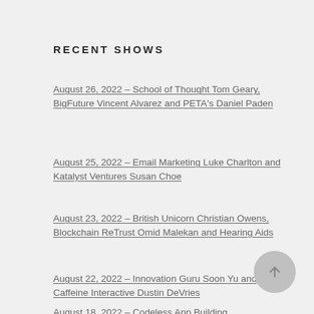RECENT SHOWS
August 26, 2022 – School of Thought Tom Geary, BigFuture Vincent Alvarez and PETA's Daniel Paden
August 25, 2022 – Email Marketing Luke Charlton and Katalyst Ventures Susan Choe
August 23, 2022 – British Unicorn Christian Owens, Blockchain ReTrust Omid Malekan and Hearing Aids
August 22, 2022 – Innovation Guru Soon Yu and Caffeine Interactive Dustin DeVries
August 18, 2022 – Codeless App Building